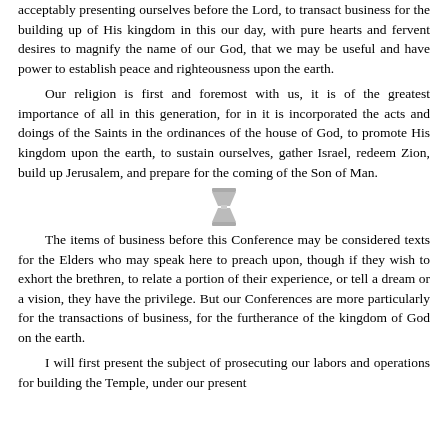acceptably presenting ourselves before the Lord, to transact business for the building up of His kingdom in this our day, with pure hearts and fervent desires to magnify the name of our God, that we may be useful and have power to establish peace and righteousness upon the earth.
Our religion is first and foremost with us, it is of the greatest importance of all in this generation, for in it is incorporated the acts and doings of the Saints in the ordinances of the house of God, to promote His kingdom upon the earth, to sustain ourselves, gather Israel, redeem Zion, build up Jerusalem, and prepare for the coming of the Son of Man.
[Figure (illustration): Decorative ornamental divider symbol resembling a hourglass or column shape]
The items of business before this Conference may be considered texts for the Elders who may speak here to preach upon, though if they wish to exhort the brethren, to relate a portion of their experience, or tell a dream or a vision, they have the privilege. But our Conferences are more particularly for the transactions of business, for the furtherance of the kingdom of God on the earth.
I will first present the subject of prosecuting our labors and operations for building the Temple, under our present